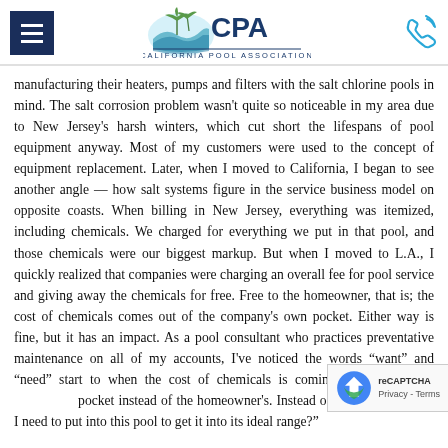California Pool Association
manufacturing their heaters, pumps and filters with the salt chlorine pools in mind. The salt corrosion problem wasn't quite so noticeable in my area due to New Jersey's harsh winters, which cut short the lifespans of pool equipment anyway. Most of my customers were used to the concept of equipment replacement. Later, when I moved to California, I began to see another angle — how salt systems figure in the service business model on opposite coasts. When billing in New Jersey, everything was itemized, including chemicals. We charged for everything we put in that pool, and those chemicals were our biggest markup. But when I moved to L.A., I quickly realized that companies were charging an overall fee for pool service and giving away the chemicals for free. Free to the homeowner, that is; the cost of chemicals comes out of the company's own pocket. Either way is fine, but it has an impact. As a pool consultant who practices preventative maintenance on all of my accounts, I've noticed the words “want” and “need” start to when the cost of chemicals is coming out of the company's pocket instead of the homeowner's. Instead of, "How do I need to put into this pool to get it into its ideal range?"